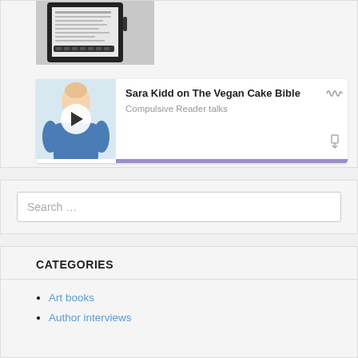[Figure (photo): A Kindle e-reader device shown from above on a white background]
[Figure (screenshot): Podcast player card showing 'Sara Kidd on The Vegan Cake Bible' from Compulsive Reader talks, with play button, waveform icon, share icon, and purple progress bar]
Search …
CATEGORIES
Art books
Author interviews